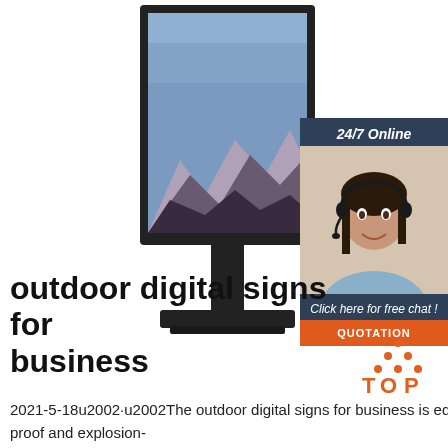[Figure (photo): Outdoor digital signage kiosk with a landscape image on screen, mounted on a black pedestal stand, on a white background]
[Figure (infographic): 24/7 Online chat widget with a customer service representative wearing a headset, with 'Click here for free chat!' text and an orange QUOTATION button]
outdoor digital signs for business
2021-5-18u2002·u2002The outdoor digital signs for business is equipped with toughened glass, which is waterproof, dust-proof and explosion-
[Figure (logo): TOP logo with orange dots arranged in a triangle above the word TOP in orange]